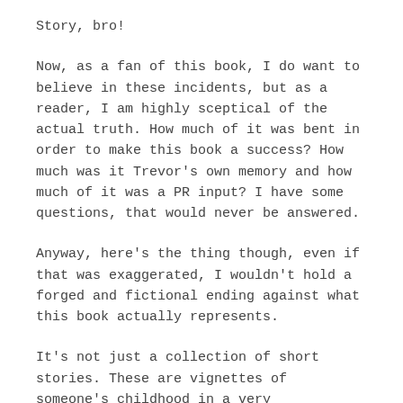Story, bro!
Now, as a fan of this book, I do want to believe in these incidents, but as a reader, I am highly sceptical of the actual truth. How much of it was bent in order to make this book a success? How much was it Trevor's own memory and how much of it was a PR input? I have some questions, that would never be answered.
Anyway, here's the thing though, even if that was exaggerated, I wouldn't hold a forged and fictional ending against what this book actually represents.
It's not just a collection of short stories. These are vignettes of someone's childhood in a very